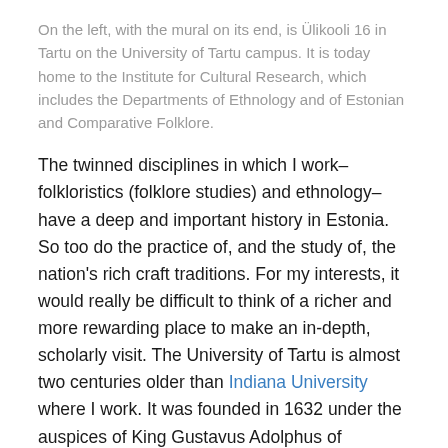On the left, with the mural on its end, is Ülikooli 16 in Tartu on the University of Tartu campus. It is today home to the Institute for Cultural Research, which includes the Departments of Ethnology and of Estonian and Comparative Folklore.
The twinned disciplines in which I work–folkloristics (folklore studies) and ethnology–have a deep and important history in Estonia. So too do the practice of, and the study of, the nation's rich craft traditions. For my interests, it would really be difficult to think of a richer and more rewarding place to make an in-depth, scholarly visit. The University of Tartu is almost two centuries older than Indiana University where I work. It was founded in 1632 under the auspices of King Gustavus Adolphus of Sweden. Through Swedish, Russian, and Soviet rule as well as in independent Estonia, the University of Tartu has